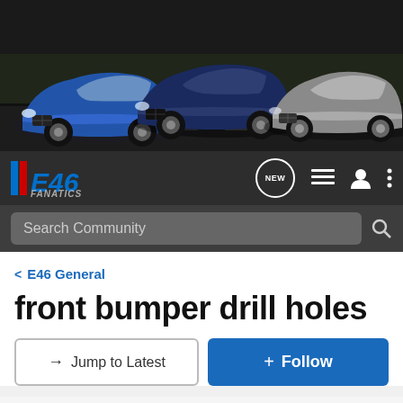[Figure (photo): Banner showing three BMW M3 E46 cars (blue convertible, dark blue coupe, silver coupe) on a dark background with orange accent bar at top]
[Figure (logo): E46 Fanatics logo with blue and red stripes, blue italic E46 text, gray FANATICS text. Nav icons: NEW speech bubble, list icon, user icon, three dots menu]
Search Community
< E46 General
front bumper drill holes
→ Jump to Latest
+ Follow
Hey everyone! Voting is now live for August's E46 of the Month Challenge!